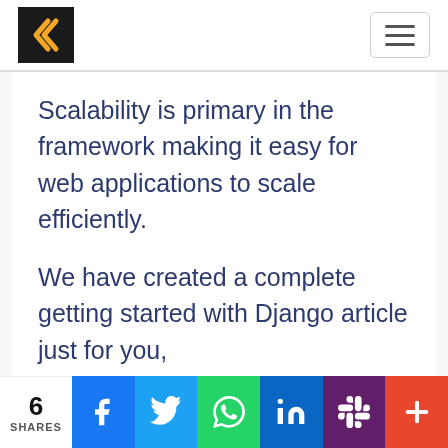[Figure (logo): Orange angular bracket / arrow logo on black background]
[Figure (other): Hamburger menu button (three horizontal lines) in a rounded rectangle]
Scalability is primary in the framework making it easy for web applications to scale efficiently.
We have created a complete getting started with Django article just for you,
6 SHARES | Facebook | Twitter | WhatsApp | LinkedIn | Slack | More